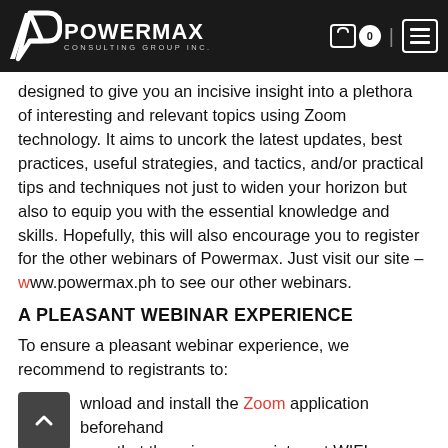POWERMAX CONSULTING GROUP INC.
designed to give you an incisive insight into a plethora of interesting and relevant topics using Zoom technology. It aims to uncork the latest updates, best practices, useful strategies, and tactics, and/or practical tips and techniques not just to widen your horizon but also to equip you with the essential knowledge and skills. Hopefully, this will also encourage you to register for the other webinars of Powermax. Just visit our site – www.powermax.ph to see our other webinars.
A PLEASANT WEBINAR EXPERIENCE
To ensure a pleasant webinar experience, we recommend to registrants to:
Download and install the Zoom application beforehand
Ensure that there is a proper internet WIFI connection
3. Use a working webinar streaming device.